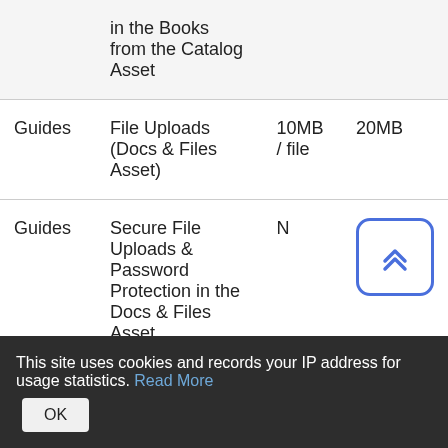|  | Feature | Limit |  |
| --- | --- | --- | --- |
|  | in the Books from the Catalog Asset |  |  |
| Guides | File Uploads (Docs & Files Asset) | 10MB / file | 20MB |
| Guides | Secure File Uploads & Password Protection in the Docs & Files Asset | N | [scroll button] |
| Guides | Twitter & Social Media Integration | Y |  |
This site uses cookies and records your IP address for usage statistics. Read More OK